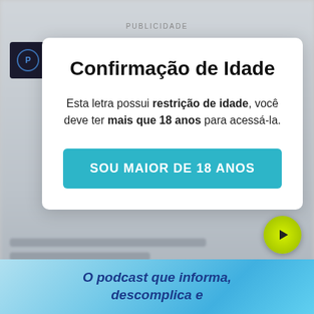PUBLICIDADE
Confirmação de Idade
Esta letra possui restrição de idade, você deve ter mais que 18 anos para acessá-la.
SOU MAIOR DE 18 ANOS
[Figure (screenshot): Green circular play button with dark play triangle in center]
[Figure (infographic): Blue gradient banner at bottom]
O podcast que informa, descomplica e